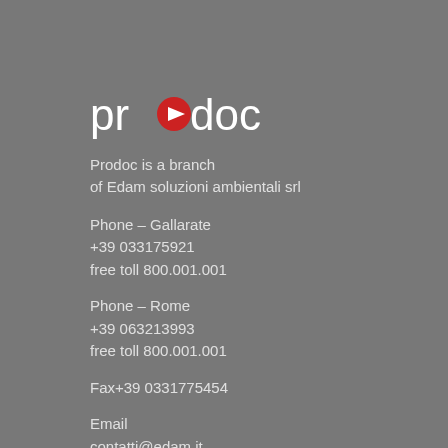[Figure (logo): Prodoc logo — lowercase white text 'prodoc' with a red circular play-button icon replacing the letter 'o']
Prodoc is a branch
of Edam soluzioni ambientali srl
Phone – Gallarate
+39 033175921
free toll 800.001.001
Phone – Rome
+39 063213993
free toll 800.001.001
Fax+39 0331775454
Email
contatti@edam.it
Gallarate address
9/11, via Guido Rossa  – 21013 Gallarate (VA) Italy